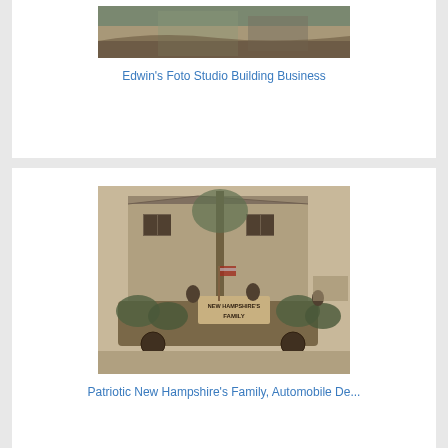[Figure (photo): Black and white historical photograph showing a building exterior, partial view — top portion of image cropped]
Edwin's Foto Studio Building Business
[Figure (photo): Sepia-toned historical photograph of a patriotic automobile parade float decorated with foliage and a sign reading 'New Hampshire Family', with people aboard and a house in background]
Patriotic New Hampshire's Family, Automobile De...